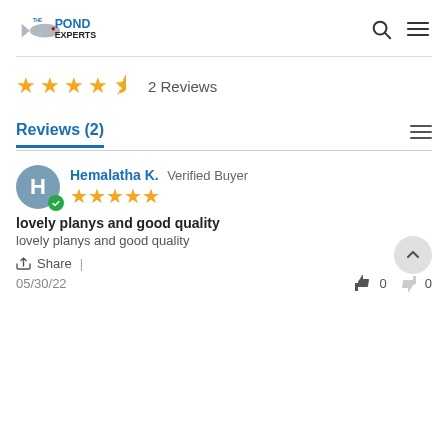The Pond Experts
★★★★½  2 Reviews
Reviews (2)
Hemalatha K.  Verified Buyer
★★★★★
lovely planys and good quality
lovely planys and good quality
Share |  05/30/22  👍 0  👎 0